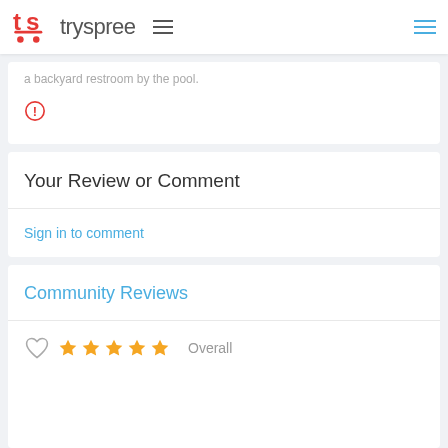tryspree
a backyard restroom by the pool.
(alert/warning icon)
Your Review or Comment
Sign in to comment
Community Reviews
★★★★★ Overall